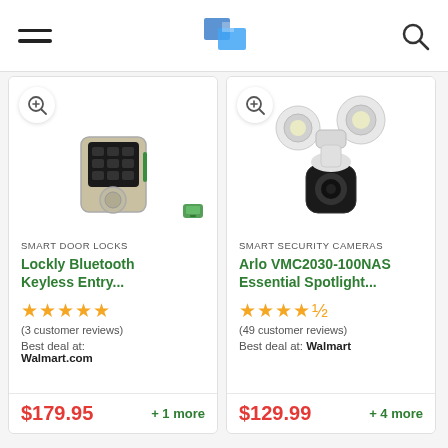Navigation header with hamburger menu, logo, and search icon
[Figure (photo): Smart door lock product image - Lockly Bluetooth keyless entry lock, black and silver digital keypad with dial]
SMART DOOR LOCKS
Lockly Bluetooth Keyless Entry...
★★★★★ (3 customer reviews) Best deal at: Walmart.com
$179.95 + 1 more
[Figure (photo): Smart security camera product image - Arlo VMC2030-100NAS Essential Spotlight camera, white with dual floodlights]
SMART SECURITY CAMERAS
Arlo VMC2030-100NAS Essential Spotlight...
★★★★½ (49 customer reviews) Best deal at: Walmart
$129.99 + 4 more